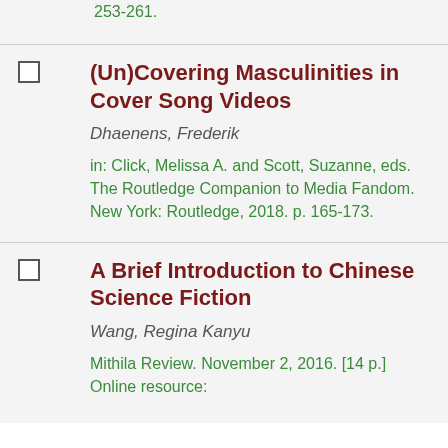253-261.
(Un)Covering Masculinities in Cover Song Videos
Dhaenens, Frederik
in: Click, Melissa A. and Scott, Suzanne, eds. The Routledge Companion to Media Fandom. New York: Routledge, 2018. p. 165-173.
A Brief Introduction to Chinese Science Fiction
Wang, Regina Kanyu
Mithila Review. November 2, 2016. [14 p.] Online resource: